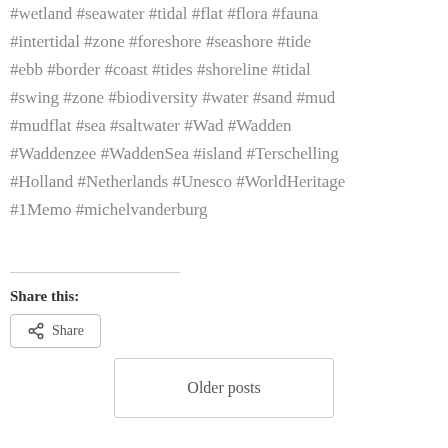#wetland #seawater #tidal #flat #flora #fauna #intertidal #zone #foreshore #seashore #tide #ebb #border #coast #tides #shoreline #tidal #swing #zone #biodiversity #water #sand #mud #mudflat #sea #saltwater #Wad #Wadden #Waddenzee #WaddenSea #island #Terschelling #Holland #Netherlands #Unesco #WorldHeritage #1Memo #michelvanderburg
Share this:
Share
Older posts